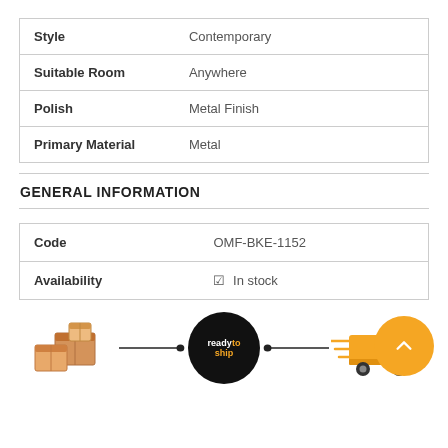| Attribute | Value |
| --- | --- |
| Style | Contemporary |
| Suitable Room | Anywhere |
| Polish | Metal Finish |
| Primary Material | Metal |
GENERAL INFORMATION
| Field | Value |
| --- | --- |
| Code | OMF-BKE-1152 |
| Availability | ✔ In stock |
[Figure (infographic): Shipping readytoship infographic showing stacked boxes, a readytoship circle badge, and a delivery truck connected by a dotted line.]